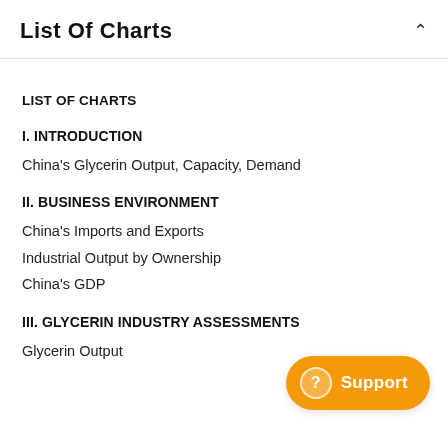List Of Charts
LIST OF CHARTS
I. INTRODUCTION
China's Glycerin Output, Capacity, Demand
II. BUSINESS ENVIRONMENT
China's Imports and Exports
Industrial Output by Ownership
China's GDP
III. GLYCERIN INDUSTRY ASSESSMENTS
Glycerin Output